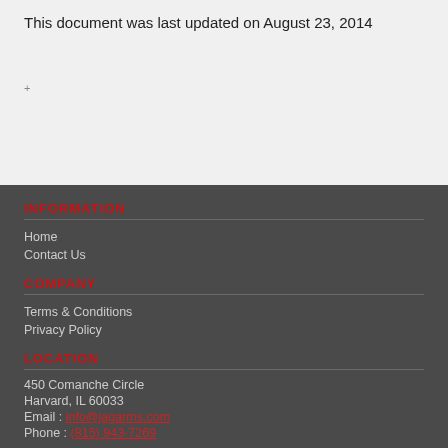This document was last updated on August 23, 2014
INFORMATION
Home
Contact Us
COMPANY
Terms & Conditions
Privacy Policy
LOCATION
450 Comanche Circle
Harvard, IL 60033
Email : info@jagarms.com
Phone : (815) 943-7269